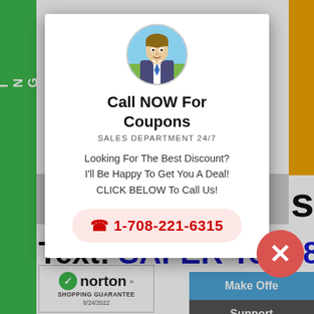[Figure (screenshot): Website screenshot showing a sales popup overlay on a product/financing page. Background shows partial text 'SCR', 'Want', 'Text: SAFER To 1-8', 'Ext...& D', a green vertical sidebar reading 'FINANCING? CLICK', orange rectangle top right, gray section, colored navigation buttons (Financing?, Make Offer, Locations, Support, New Items), and a Norton Shopping Guarantee badge. Foreground popup shows a man's avatar photo, 'Call NOW For Coupons', 'SALES DEPARTMENT 24/7', text about discounts, a phone number 1-708-221-6315, and a red close X button.]